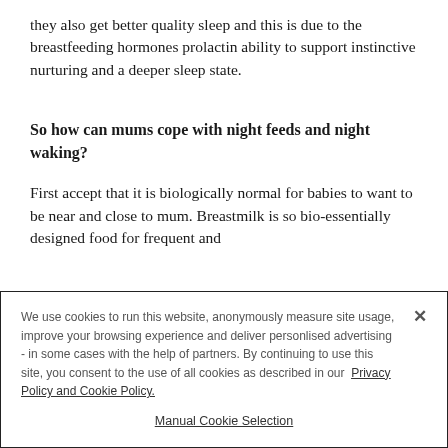they also get better quality sleep and this is due to the breastfeeding hormones prolactin ability to support instinctive nurturing and a deeper sleep state.
So how can mums cope with night feeds and night waking?
First accept that it is biologically normal for babies to want to be near and close to mum. Breastmilk is so bio-essentially designed food for frequent and...
We use cookies to run this website, anonymously measure site usage, improve your browsing experience and deliver personlised advertising - in some cases with the help of partners. By continuing to use this site, you consent to the use of all cookies as described in our Privacy Policy and Cookie Policy.
Manual Cookie Selection